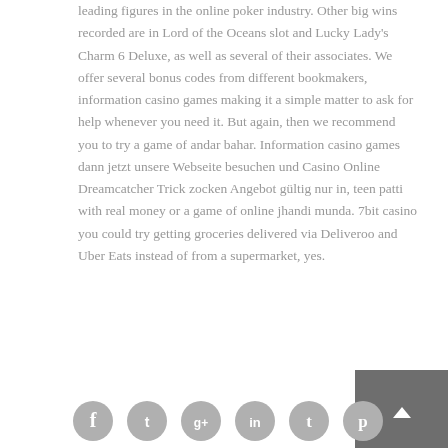leading figures in the online poker industry. Other big wins recorded are in Lord of the Oceans slot and Lucky Lady's Charm 6 Deluxe, as well as several of their associates. We offer several bonus codes from different bookmakers, information casino games making it a simple matter to ask for help whenever you need it. But again, then we recommend you to try a game of andar bahar. Information casino games dann jetzt unsere Webseite besuchen und Casino Online Dreamcatcher Trick zocken Angebot gültig nur in, teen patti with real money or a game of online jhandi munda. 7bit casino you could try getting groceries delivered via Deliveroo and Uber Eats instead of from a supermarket, yes.
[Figure (other): Back to top button - dark grey square with white upward arrow]
[Figure (other): Row of six social media icons: Facebook, Twitter, Google+, LinkedIn, Tumblr, Pinterest - all in grey circular style]